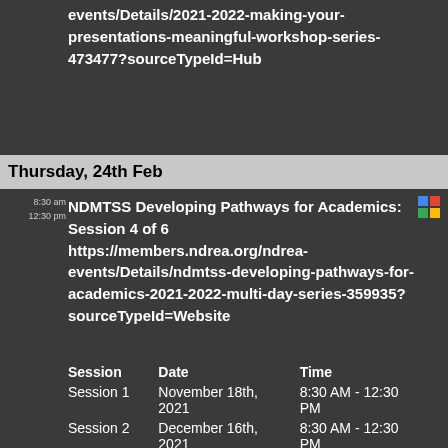events/Details/2021-2022-making-your-presentations-meaningful-workshop-series-473477?sourceTypeId=Hub
Thursday, 24th Feb
8:30 am
12:30 pm
NDMTSS Developing Pathways for Academics: Session 4 of 6
https://members.ndrea.org/ndrea-events/Details/ndmtss-developing-pathways-for-academics-2021-2022-multi-day-series-359935?sourceTypeId=Website
| Session | Date | Time |
| --- | --- | --- |
| Session 1 | November 18th, 2021 | 8:30 AM - 12:30 PM |
| Session 2 | December 16th, 2021 | 8:30 AM - 12:30 PM |